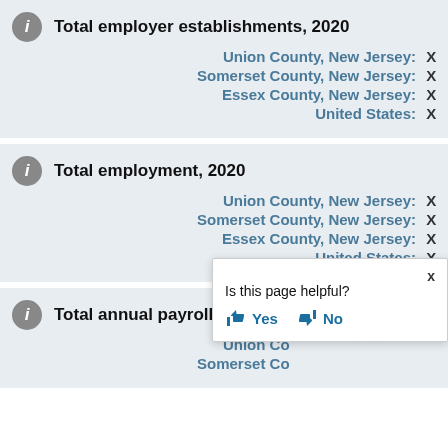Total employer establishments, 2020
| Geography | Value |
| --- | --- |
| Union County, New Jersey: | X |
| Somerset County, New Jersey: | X |
| Essex County, New Jersey: | X |
| United States: | X |
Total employment, 2020
| Geography | Value |
| --- | --- |
| Union County, New Jersey: | X |
| Somerset County, New Jersey: | X |
| Essex County, New Jersey: | X |
| United States: | X |
Total annual payroll, 2020 ($1,000)
| Geography | Value |
| --- | --- |
| Union Co... |  |
| Somerset Co... |  |
Is this page helpful? Yes No